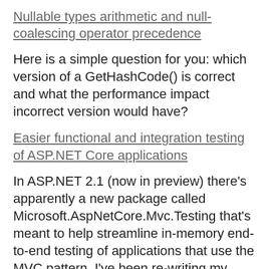Nullable types arithmetic and null-coalescing operator precedence
Here is a simple question for you: which version of a GetHashCode() is correct and what the performance impact incorrect version would have?
Easier functional and integration testing of ASP.NET Core applications
In ASP.NET 2.1 (now in preview) there's apparently a new package called Microsoft.AspNetCore.Mvc.Testing that's meant to help streamline in-memory end-to-end testing of applications that use the MVC pattern. I've been re-writing my podcast site